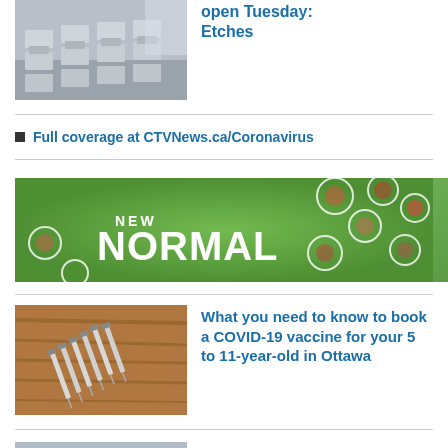[Figure (photo): Empty classroom with desks and chairs]
open Tuesday: Etches
Full coverage at CTVNews.ca/Coronavirus
[Figure (infographic): New Normal banner with aerial view of people in circles on grass]
[Figure (photo): Multiple syringes on a wooden table]
What you need to know to book a COVID-19 vaccine for your 5 to 11-year-old in Ottawa
[Figure (photo): Child wearing mask receiving a vaccine from a healthcare worker in blue clothing]
Tens of thousands of COVID-19 vaccine appointments for Ottawa kids 5 to